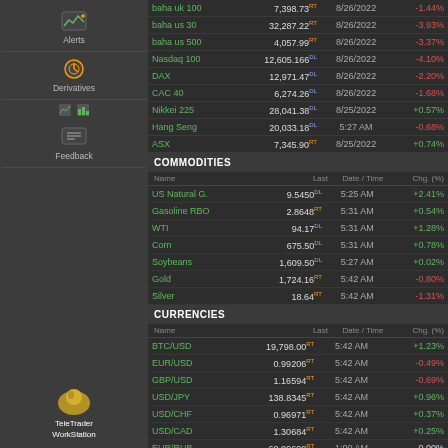[Figure (screenshot): Left navigation sidebar with Alerts, Derivatives, Feedback, and TeleTrader WorkStation icons]
| Name | Last | Date/Time | Chg. (%) |
| --- | --- | --- | --- |
| baha uk 100 | 7,398.73 RT | 8/26/2022 | -1.44% |
| baha us 30 | 32,287.22 RT | 8/26/2022 | -3.93% |
| baha us 500 | 4,057.99 RT | 8/26/2022 | -3.37% |
| Nasdaq 100 | 12,605.166 DL | 8/26/2022 | -4.10% |
| DAX | 12,971.47 DL | 8/26/2022 | -2.20% |
| CAC 40 | 6,274.26 DL | 8/26/2022 | -1.68% |
| Nikkei 225 | 28,041.38 DL | 8/25/2022 | +0.57% |
| Hang Seng | 20,033.18 DL | 5:27 AM | -0.68% |
| ASX | 7,345.90 RT | 8/25/2022 | +0.74% |
COMMODITIES
| Name | Last | Date / Time | Chg. (%) |
| --- | --- | --- | --- |
| US Natural G. | 9.5450 DL | 5:25 AM | +2.41% |
| Gasoline RBO | 2.8648 RT | 5:31 AM | +0.54% |
| WTI | 94.17 DL | 5:31 AM | +1.28% |
| Corn | 675.50 DL | 5:31 AM | +0.78% |
| Soybeans | 1,609.50 DL | 5:27 AM | +0.02% |
| Gold | 1,724.16 RT | 5:42 AM | -0.80% |
| Silver | 18.64 RT | 5:42 AM | -1.31% |
CURRENCIES
| Name | Last | Date / Time | Chg. (%) |
| --- | --- | --- | --- |
| BTC/USD | 19,798.00 RT | 5:42 AM | +1.23% |
| EUR/USD | 0.99206 RT | 5:42 AM | -0.49% |
| GBP/USD | 1.16594 RT | 5:42 AM | -0.69% |
| USD/JPY | 138.8345 RT | 5:42 AM | +0.96% |
| USD/CHF | 0.96971 RT | 5:42 AM | +0.37% |
| USD/CAD | 1.30684 RT | 5:42 AM | +0.25% |
| EUR/RUB | 60.09600 RT | 1:00 AM | 0.00% |
BONDS
| Name | Last | Date / Time | Chg. (%) |
| --- | --- | --- | --- |